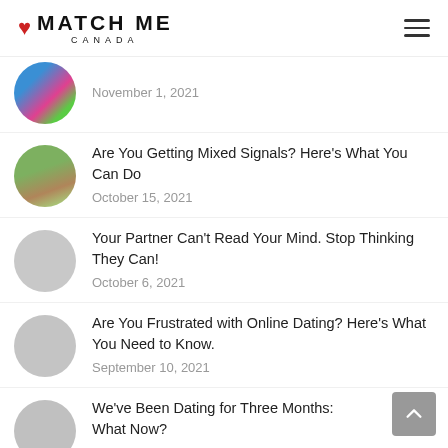MATCH ME CANADA
November 1, 2021
Are You Getting Mixed Signals? Here's What You Can Do
October 15, 2021
Your Partner Can't Read Your Mind. Stop Thinking They Can!
October 6, 2021
Are You Frustrated with Online Dating? Here's What You Need to Know.
September 10, 2021
We've Been Dating for Three Months: What Now?